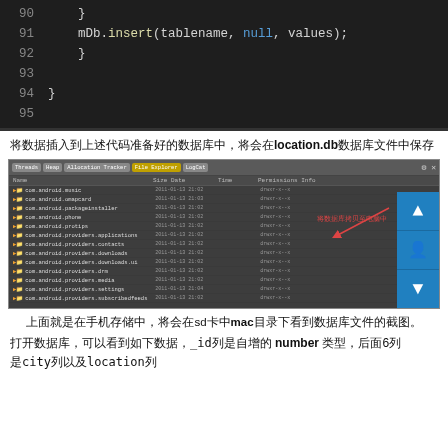[Figure (screenshot): Code editor showing lines 90-95 with mDb.insert(tablename, null, values); on line 91, closing braces on lines 92 and 94, dark background theme]
将数据插入到上述代码准备好的数据库中，将会在location.db数据库文件中保存
[Figure (screenshot): Android file explorer screenshot showing list of com.android.* directories and a highlighted location.db file entry, with Chinese annotation pointing to the database file area, and blue navigation buttons on the right side]
上面就是在手机存储中，将会在sd卡中mac目录下看到数据库文件的截图。
打开数据库，可以看到如下数据，_id列是自增的 number 类型，后面6列
是city列以及location列